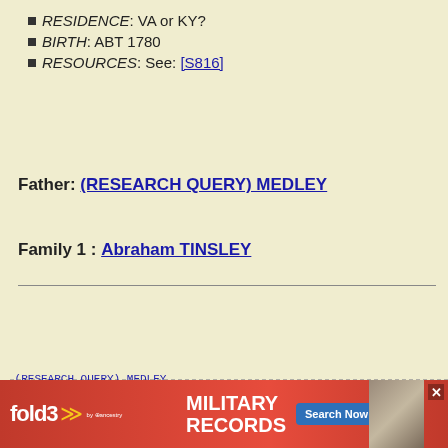RESIDENCE: VA or KY?
BIRTH: ABT 1780
RESOURCES: See: [S816]
Father: (RESEARCH QUERY) MEDLEY
Family 1 : Abraham TINSLEY
[Figure (other): Genealogy pedigree bracket diagram showing family tree connections with dashed lines for (RESEARCH QUERY) MEDLEY and partial entry for Lucy (1780)]
[Figure (other): fold3 MILITARY RECORDS advertisement banner with Search Now button]